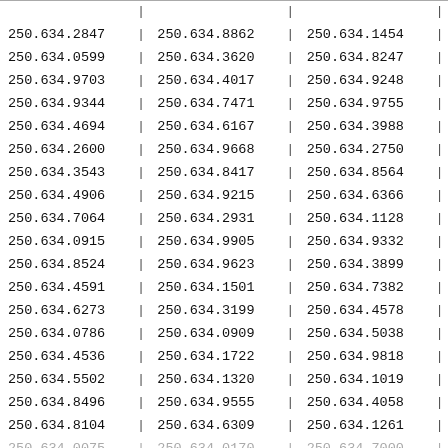| 250.634.2847 | | | 250.634.8862 | | | 250.634.1454 | | |
| 250.634.0599 | | | 250.634.3620 | | | 250.634.8247 | | |
| 250.634.9703 | | | 250.634.4017 | | | 250.634.9248 | | |
| 250.634.9344 | | | 250.634.7471 | | | 250.634.9755 | | |
| 250.634.4694 | | | 250.634.6167 | | | 250.634.3988 | | |
| 250.634.2600 | | | 250.634.9668 | | | 250.634.2750 | | |
| 250.634.3543 | | | 250.634.8417 | | | 250.634.8564 | | |
| 250.634.4906 | | | 250.634.9215 | | | 250.634.6366 | | |
| 250.634.7064 | | | 250.634.2931 | | | 250.634.1128 | | |
| 250.634.0915 | | | 250.634.9905 | | | 250.634.9332 | | |
| 250.634.8524 | | | 250.634.9623 | | | 250.634.3899 | | |
| 250.634.4591 | | | 250.634.1501 | | | 250.634.7382 | | |
| 250.634.6273 | | | 250.634.3199 | | | 250.634.4578 | | |
| 250.634.0786 | | | 250.634.0909 | | | 250.634.5038 | | |
| 250.634.4536 | | | 250.634.1722 | | | 250.634.9818 | | |
| 250.634.5502 | | | 250.634.1320 | | | 250.634.1019 | | |
| 250.634.8496 | | | 250.634.9555 | | | 250.634.4058 | | |
| 250.634.8104 | | | 250.634.6309 | | | 250.634.1261 | | |
| 250.634.0075 | | | 250.634.0170 | | | 250.634.7000 | | |